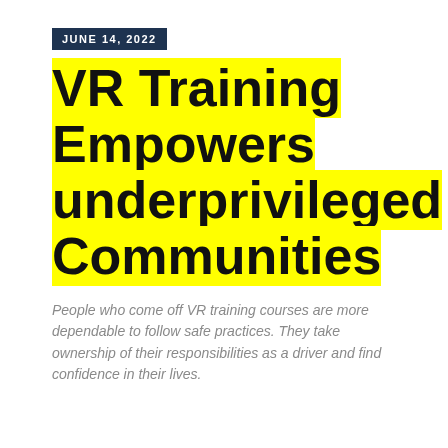JUNE 14, 2022
VR Training Empowers underprivileged Communities
People who come off VR training courses are more dependable to follow safe practices. They take ownership of their responsibilities as a driver and find confidence in their lives.